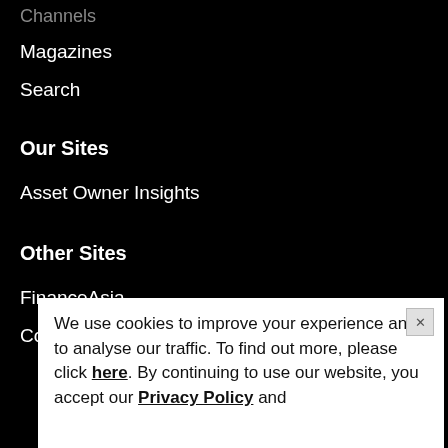Magazines
Search
Our Sites
Asset Owner Insights
Other Sites
FinanceAsia
CorporateTreasurer
We use cookies to improve your experience and to analyse our traffic. To find out more, please click here. By continuing to use our website, you accept our Privacy Policy and